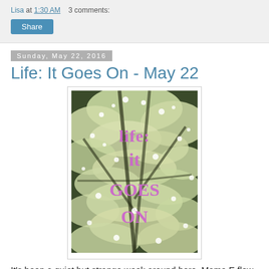Lisa at 1:30 AM   3 comments:
Share
Sunday, May 22, 2016
Life: It Goes On - May 22
[Figure (photo): Photo of white flowering tree branches viewed from below, with pink text overlay reading LIFE: IT GOES ON]
It's been a quiet but strange week around here. Mama E flew home on Tuesday which meant that Tuesday night was the first night we'd had an empty house in five days. While it was nice to not worry about what we'd eat for